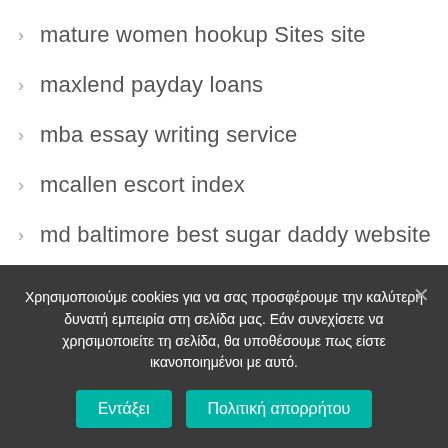mature women hookup Sites site
maxlend payday loans
mba essay writing service
mcallen escort index
md baltimore best sugar daddy website
Meddle alternativa
meddle come funziona
meddle gratis
meddle kosten
Χρησιμοποιούμε cookies για να σας προσφέρουμε την καλύτερη δυνατή εμπειρία στη σελίδα μας. Εάν συνεχίσετε να χρησιμοποιείτε τη σελίδα, θα υποθέσουμε πως είστε ικανοποιημένοι με αυτό.
Εντάξει | Πολιτική απορρήτου